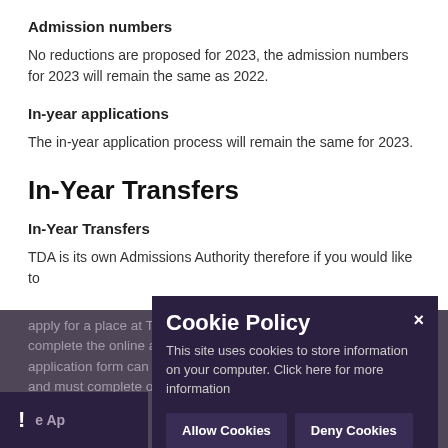Admission numbers
No reductions are proposed for 2023, the admission numbers for 2023 will remain the same as 2022.
In-year applications
The in-year application process will remain the same for 2023.
In-Year Transfers
In-Year Transfers
TDA is its own Admissions Authority therefore if you would like to apply for a place at TDA for your child, Year 8–13 please complete the online application form here. The online application form can be found on our website and must be completed online. Once submitted you have...
Cookie Policy
This site uses cookies to store information on your computer. Click here for more information
Allow Cookies | Deny Cookies